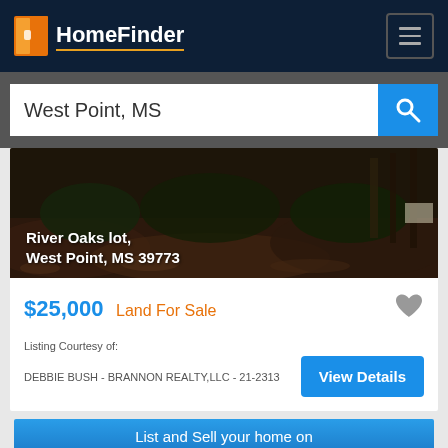[Figure (logo): HomeFinder logo with orange door icon and navigation menu button on dark navy header]
West Point, MS
[Figure (photo): Outdoor lot photo showing wooded area with mulch/leaves ground cover, trees and shrubs in background]
River Oaks lot, West Point, MS 39773
$25,000 Land For Sale
Listing Courtesy of:
DEBBIE BUSH - BRANNON REALTY,LLC - 21-2313
View Details
[Figure (logo): Bottom banner with blue gradient background showing 'List and Sell your home on HomeFinder' with orange door logo]